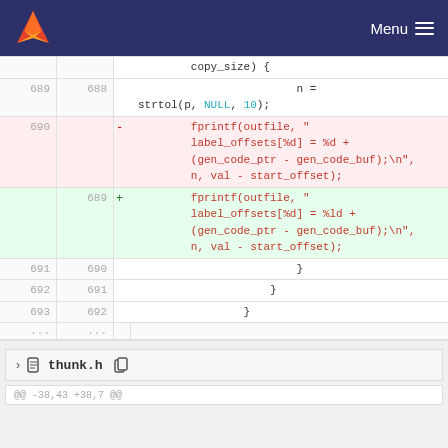GitLab navigation bar with logo and Menu
[Figure (screenshot): Git diff view showing code changes in a C source file. Lines 689-693 with old/new line numbers. A deleted block (line 690) and added block (line 689 new) show a change from %d to %ld in a fprintf format string for label_offsets.]
thunk.h file header with collapse chevron and copy icon